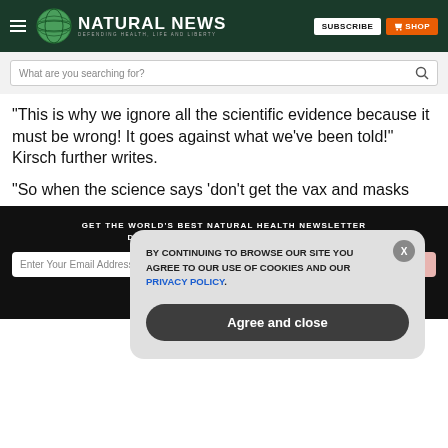NATURAL NEWS — DEFENDING HEALTH, LIFE AND LIBERTY
"This is why we ignore all the scientific evidence because it must be wrong! It goes against what we've been told!" Kirsch further writes.
"So when the science says 'don't get the vax and masks
GET THE WORLD'S BEST NATURAL HEALTH NEWSLETTER DELIVERED STRAIGHT TO YOUR INBOX
BY CONTINUING TO BROWSE OUR SITE YOU AGREE TO OUR USE OF COOKIES AND OUR PRIVACY POLICY. Agree and close